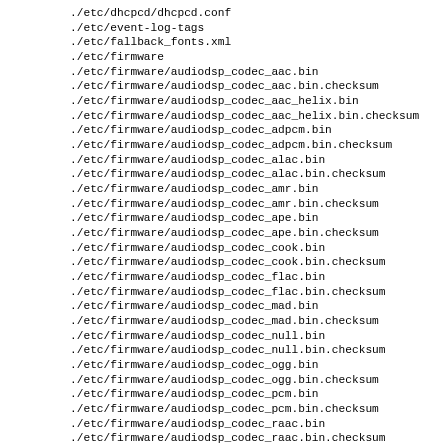./etc/dhcpcd/dhcpcd.conf
./etc/event-log-tags
./etc/fallback_fonts.xml
./etc/firmware
./etc/firmware/audiodsp_codec_aac.bin
./etc/firmware/audiodsp_codec_aac.bin.checksum
./etc/firmware/audiodsp_codec_aac_helix.bin
./etc/firmware/audiodsp_codec_aac_helix.bin.checksum
./etc/firmware/audiodsp_codec_adpcm.bin
./etc/firmware/audiodsp_codec_adpcm.bin.checksum
./etc/firmware/audiodsp_codec_alac.bin
./etc/firmware/audiodsp_codec_alac.bin.checksum
./etc/firmware/audiodsp_codec_amr.bin
./etc/firmware/audiodsp_codec_amr.bin.checksum
./etc/firmware/audiodsp_codec_ape.bin
./etc/firmware/audiodsp_codec_ape.bin.checksum
./etc/firmware/audiodsp_codec_cook.bin
./etc/firmware/audiodsp_codec_cook.bin.checksum
./etc/firmware/audiodsp_codec_flac.bin
./etc/firmware/audiodsp_codec_flac.bin.checksum
./etc/firmware/audiodsp_codec_mad.bin
./etc/firmware/audiodsp_codec_mad.bin.checksum
./etc/firmware/audiodsp_codec_null.bin
./etc/firmware/audiodsp_codec_null.bin.checksum
./etc/firmware/audiodsp_codec_ogg.bin
./etc/firmware/audiodsp_codec_ogg.bin.checksum
./etc/firmware/audiodsp_codec_pcm.bin
./etc/firmware/audiodsp_codec_pcm.bin.checksum
./etc/firmware/audiodsp_codec_raac.bin
./etc/firmware/audiodsp_codec_raac.bin.checksum
./etc/firmware/audiodsp_codec_vorbis.bin
./etc/firmware/audiodsp_codec_vorbis.bin.checksum